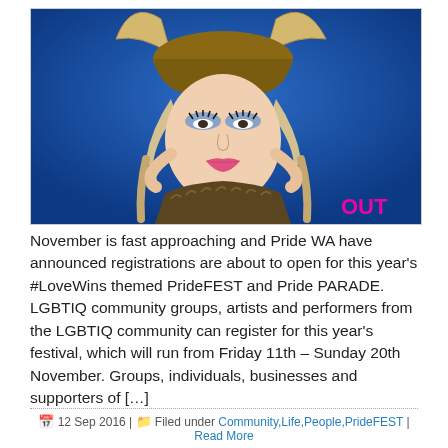[Figure (photo): A performer in drag wearing a Viking helmet with horns, heavy stage makeup, braided hair, and a fur-like costume, posing against a blue background. A pink 'OUT' watermark is visible in the lower right corner.]
November is fast approaching and Pride WA have announced registrations are about to open for this year's #LoveWins themed PrideFEST and Pride PARADE. LGBTIQ community groups, artists and performers from the LGBTIQ community can register for this year's festival, which will run from Friday 11th – Sunday 20th November. Groups, individuals, businesses and supporters of […]
12 Sep 2016 | Filed under Community,Life,People,PrideFEST | Read More